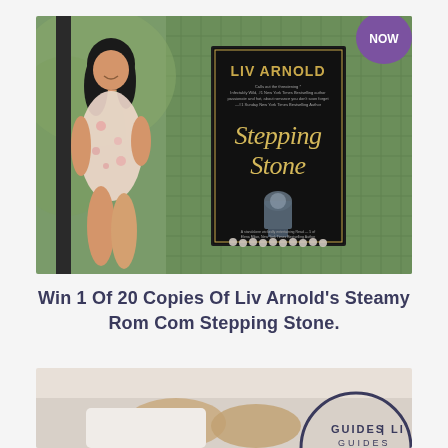[Figure (photo): Photo of a smiling Asian woman in a floral dress sitting outdoors, with a book cover for 'Stepping Stone' by Liv Arnold overlaid. A purple circle badge in the top right reads 'NOW'.]
Win 1 Of 20 Copies Of Liv Arnold's Steamy Rom Com Stepping Stone.
[Figure (photo): Partial photo showing cozy items (socks, blanket) with a circular badge overlay partially visible reading 'GUIDES | LIS']